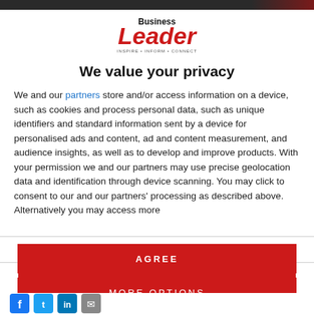Business Leader – INSPIRE • INFORM • CONNECT
[Figure (logo): Business Leader magazine logo with red and black text and tagline INSPIRE • INFORM • CONNECT]
We value your privacy
We and our partners store and/or access information on a device, such as cookies and process personal data, such as unique identifiers and standard information sent by a device for personalised ads and content, ad and content measurement, and audience insights, as well as to develop and improve products. With your permission we and our partners may use precise geolocation data and identification through device scanning. You may click to consent to our and our partners' processing as described above. Alternatively you may access more
AGREE
MORE OPTIONS